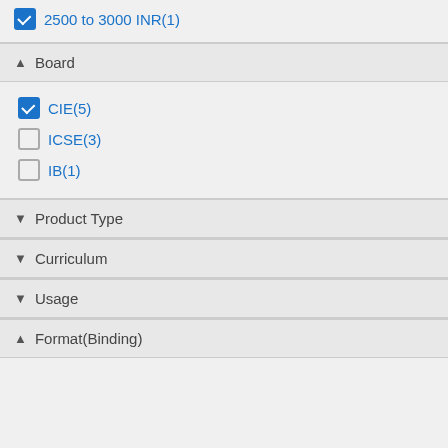2500 to 3000 INR(1)
▲ Board
CIE(5)
ICSE(3)
IB(1)
▼ Product Type
▼ Curriculum
▼ Usage
▲ Format(Binding)